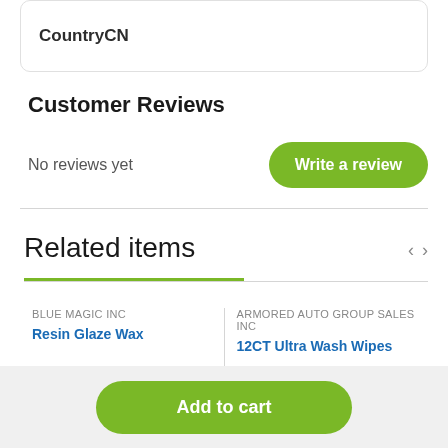CountryCN
Customer Reviews
No reviews yet
Write a review
Related items
BLUE MAGIC INC
Resin Glaze Wax
ARMORED AUTO GROUP SALES INC
12CT Ultra Wash Wipes
Add to cart